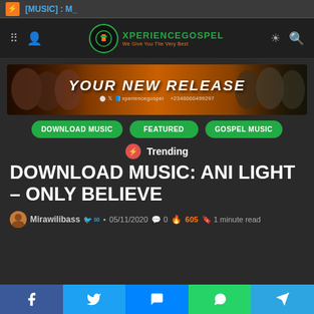[MUSIC] : M_
[Figure (logo): XperienceGospel logo with green circle icon and orange tagline 'We Give You The Very Best']
[Figure (infographic): Banner with 'YOUR NEW RELEASE' text, people on both sides, and contact info xperiencegospel +2348060499297]
DOWNLOAD MUSIC
FEATURED
GOSPEL MUSIC
Trending
DOWNLOAD MUSIC: ANI LIGHT – ONLY BELIEVE
Mirawilibass · 05/11/2020 · 0 · 605 · 1 minute read